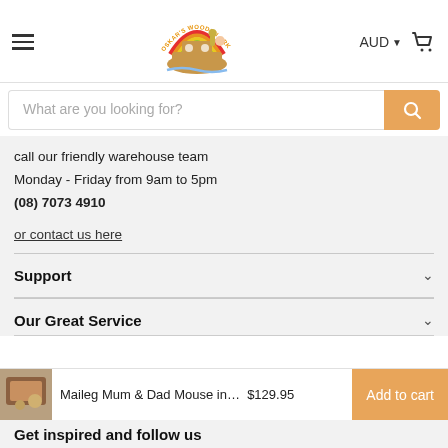[Figure (logo): Oskar's Wooden Ark logo: a cartoon Noah's Ark with a rainbow overhead and animals aboard, with the text 'OSKAR'S WOODEN ARK' in an arc]
AUD
What are you looking for?
call our friendly warehouse team
Monday - Friday from 9am to 5pm
(08) 7073 4910
or contact us here
Support
Our Great Service
Maileg Mum & Dad Mouse in…   $129.95
Get inspired and follow us